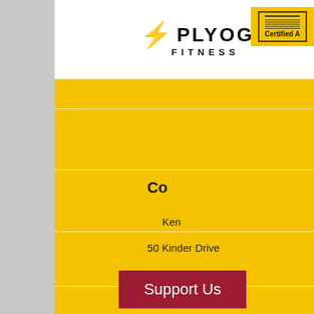[Figure (logo): PlyogaFitness logo with lightning bolt and FITNESS text below]
[Figure (logo): Certified A... logo/badge on yellow background with horizontal lines]
Co...
Ken...
50 Kinder Drive...
60...
kentucky...
Support Us